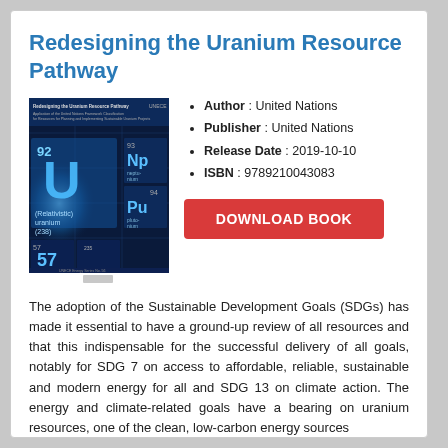Redesigning the Uranium Resource Pathway
[Figure (illustration): Book cover of 'Redesigning the Uranium Resource Pathway' showing a periodic table background with uranium (U, 92), neptunium (Np, 93), plutonium (Pu, 94) elements highlighted in blue, with a small bookmark/pen graphic below]
Author : United Nations
Publisher : United Nations
Release Date : 2019-10-10
ISBN : 9789210043083
DOWNLOAD BOOK
The adoption of the Sustainable Development Goals (SDGs) has made it essential to have a ground-up review of all resources and that this indispensable for the successful delivery of all goals, notably for SDG 7 on access to affordable, reliable, sustainable and modern energy for all and SDG 13 on climate action. The energy and climate-related goals have a bearing on uranium resources, one of the clean, low-carbon energy sources